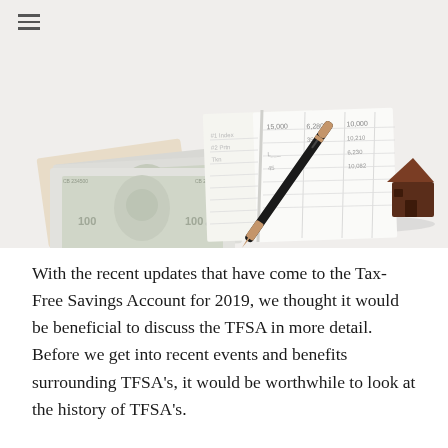[Figure (photo): A flat-lay photograph on a white surface showing a stack of US dollar bills with a tan envelope/passport holder labeled 'CASHBOOK', an open checkbook/ledger with handwritten numbers and a black and rose-gold pen resting on it, and a small dark wooden house figurine in the bottom right corner.]
With the recent updates that have come to the Tax-Free Savings Account for 2019, we thought it would be beneficial to discuss the TFSA in more detail. Before we get into recent events and benefits surrounding TFSA's, it would be worthwhile to look at the history of TFSA's.